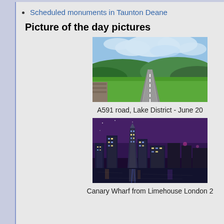Scheduled monuments in Taunton Deane
Picture of the day pictures
[Figure (photo): A591 road stretching through the Lake District with green hills and blue sky with clouds]
A591 road, Lake District - June 20
[Figure (photo): Night skyline of Canary Wharf from Limehouse London with city lights reflecting on the water]
Canary Wharf from Limehouse London 2